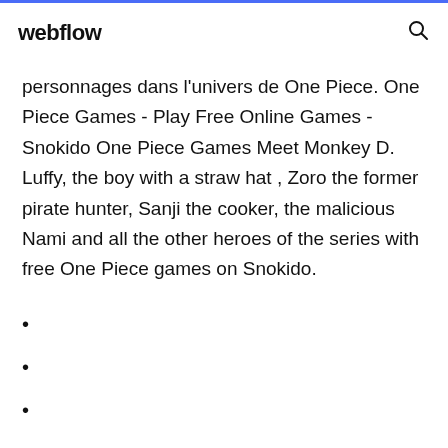webflow
personnages dans l'univers de One Piece. One Piece Games - Play Free Online Games - Snokido One Piece Games Meet Monkey D. Luffy, the boy with a straw hat , Zoro the former pirate hunter, Sanji the cooker, the malicious Nami and all the other heroes of the series with free One Piece games on Snokido.